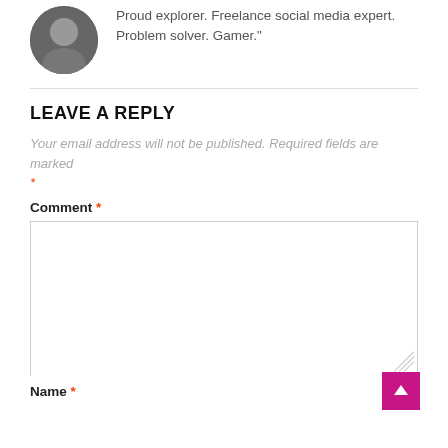Proud explorer. Freelance social media expert. Problem solver. Gamer."
LEAVE A REPLY
Your email address will not be published. Required fields are marked *
Comment *
Name *